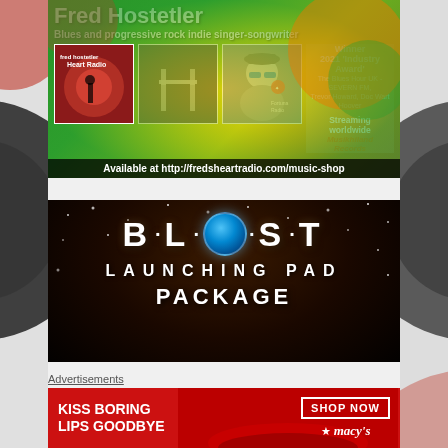[Figure (advertisement): Fred Hostetler Blues and progressive rock indie singer-songwriter advertisement with album covers, award information, and website link. Available at http://fredsheartradio.com/music-shop]
[Figure (advertisement): BLAST Launching Pad Package promotional advertisement with space/globe imagery on dark background]
Advertisements
[Figure (advertisement): Macy's advertisement: KISS BORING LIPS GOODBYE - SHOP NOW - macy's logo with red lipstick imagery]